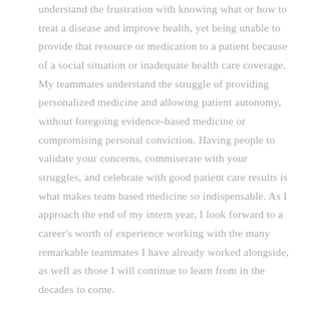understand the frustration with knowing what or how to treat a disease and improve health, yet being unable to provide that resource or medication to a patient because of a social situation or inadequate health care coverage. My teammates understand the struggle of providing personalized medicine and allowing patient autonomy, without foregoing evidence-based medicine or compromising personal conviction. Having people to validate your concerns, commiserate with your struggles, and celebrate with good patient care results is what makes team based medicine so indispensable. As I approach the end of my intern year, I look forward to a career's worth of experience working with the many remarkable teammates I have already worked alongside, as well as those I will continue to learn from in the decades to come.